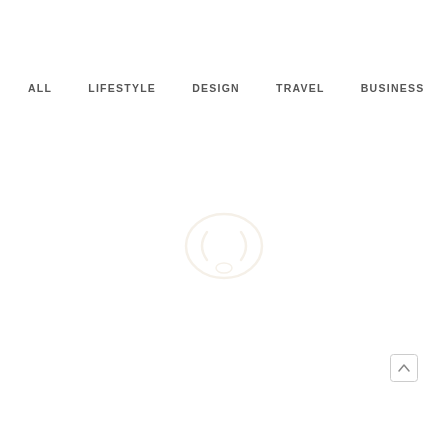ALL   LIFESTYLE   DESIGN   TRAVEL   BUSINESS
[Figure (logo): Faint circular logo or quotation mark symbol in light cream/white color centered on the page]
[Figure (illustration): Scroll-to-top button arrow icon in bottom right corner]